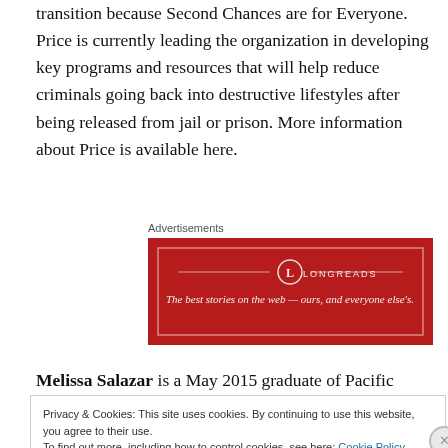transition because Second Chances are for Everyone. Price is currently leading the organization in developing key programs and resources that will help reduce criminals going back into destructive lifestyles after being released from jail or prison. More information about Price is available here.
Advertisements
[Figure (other): Longreads advertisement banner: red background with white border, logo 'L LONGREADS', tagline 'The best stories on the web — ours, and everyone else's.']
Melissa Salazar is a May 2015 graduate of Pacific
Privacy & Cookies: This site uses cookies. By continuing to use this website, you agree to their use.
To find out more, including how to control cookies, see here: Cookie Policy
Close and accept